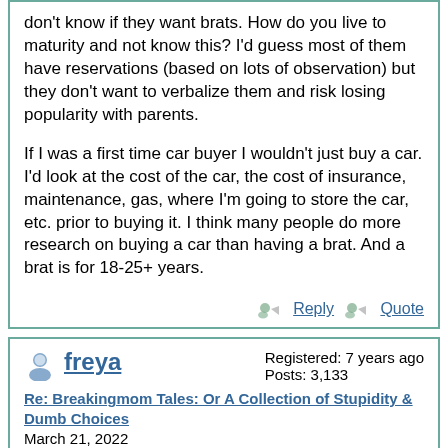don't know if they want brats. How do you live to maturity and not know this? I'd guess most of them have reservations (based on lots of observation) but they don't want to verbalize them and risk losing popularity with parents.

If I was a first time car buyer I wouldn't just buy a car. I'd look at the cost of the car, the cost of insurance, maintenance, gas, where I'm going to store the car, etc. prior to buying it. I think many people do more research on buying a car than having a brat. And a brat is for 18-25+ years.
Reply  Quote
freya
Re: Breakingmom Tales: Or A Collection of Stupidity & Dumb Choices
March 21, 2022
Registered: 7 years ago
Posts: 3,133
Quote
Cambion
What a fucking trainwreck. Kid is violent and has autism, won't take meds, allegedly could not be Baker Acted for the full 72 hours because he refused to cooperate with mental health